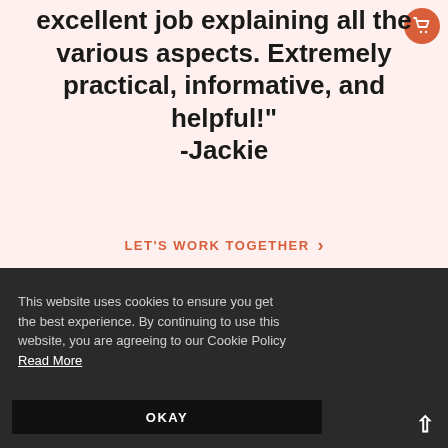excellent job explaining all the various aspects. Extremely practical, informative, and helpful!" -Jackie
LET'S WORK TOGETHER ›
This website uses cookies to ensure you get the best experience. By continuing to use this website, you are agreeing to our Cookie Policy  Read More
OKAY